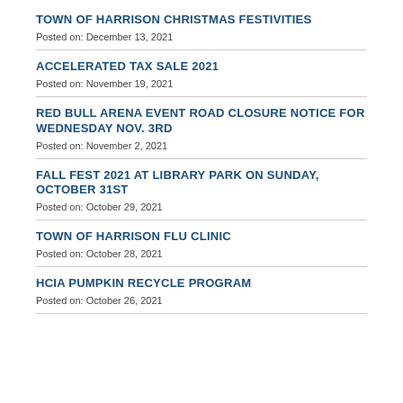TOWN OF HARRISON CHRISTMAS FESTIVITIES
Posted on: December 13, 2021
ACCELERATED TAX SALE 2021
Posted on: November 19, 2021
RED BULL ARENA EVENT ROAD CLOSURE NOTICE FOR WEDNESDAY NOV. 3RD
Posted on: November 2, 2021
FALL FEST 2021 AT LIBRARY PARK ON SUNDAY, OCTOBER 31ST
Posted on: October 29, 2021
TOWN OF HARRISON FLU CLINIC
Posted on: October 28, 2021
HCIA PUMPKIN RECYCLE PROGRAM
Posted on: October 26, 2021